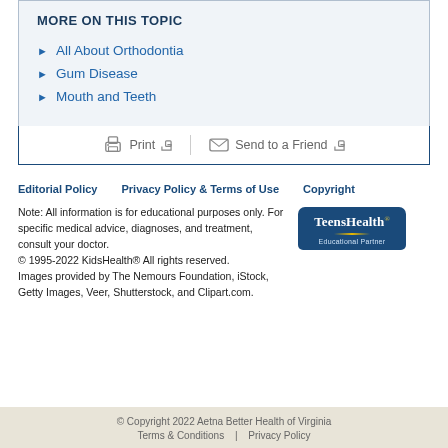MORE ON THIS TOPIC
All About Orthodontia
Gum Disease
Mouth and Teeth
Print   Send to a Friend
Editorial Policy   Privacy Policy & Terms of Use   Copyright
Note: All information is for educational purposes only. For specific medical advice, diagnoses, and treatment, consult your doctor.
© 1995-2022 KidsHealth® All rights reserved.
Images provided by The Nemours Foundation, iStock, Getty Images, Veer, Shutterstock, and Clipart.com.
[Figure (logo): TeensHealth Educational Partner logo]
© Copyright 2022 Aetna Better Health of Virginia
Terms & Conditions  |  Privacy Policy